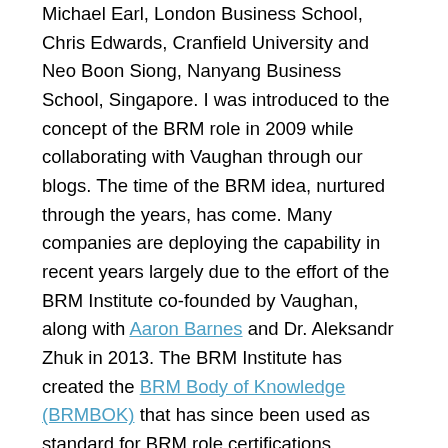Michael Earl, London Business School, Chris Edwards, Cranfield University and Neo Boon Siong, Nanyang Business School, Singapore. I was introduced to the concept of the BRM role in 2009 while collaborating with Vaughan through our blogs. The time of the BRM idea, nurtured through the years, has come. Many companies are deploying the capability in recent years largely due to the effort of the BRM Institute co-founded by Vaughan, along with Aaron Barnes and Dr. Aleksandr Zhuk in 2013. The BRM Institute has created the BRM Body of Knowledge (BRMBOK) that has since been used as standard for BRM role certifications worldwide. I had the privilege to work with Vaughan, along with other BRM pioneers globally to publish the first version of the BRMBOK in 2014.